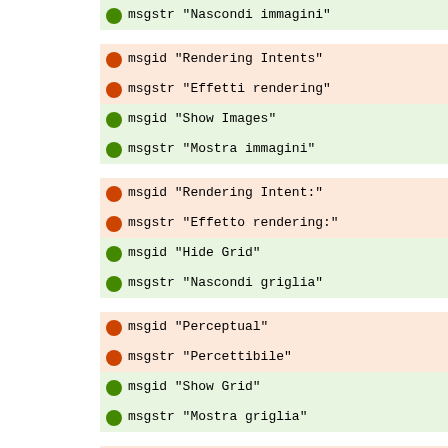msgstr "Nascondi immagini"
msgid "Rendering Intents"
msgstr "Effetti rendering"
msgid "Show Images"
msgstr "Mostra immagini"
msgid "Rendering Intent:"
msgstr "Effetto rendering:"
msgid "Hide Grid"
msgstr "Nascondi griglia"
msgid "Perceptual"
msgstr "Percettibile"
msgid "Show Grid"
msgstr "Mostra griglia"
msgid "Relative Colorimetric"
msgstr "Grado di colore relativo"
msgid "Hide Guides"
msgstr "Nascondi guide"
msgid "Saturation"
msgstr "Saturazione"